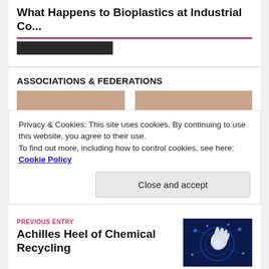What Happens to Bioplastics at Industrial Co...
ASSOCIATIONS & FEDERATIONS
[Figure (photo): Two sets of hands reaching toward each other against a white background, representing cooperation or partnership.]
Privacy & Cookies: This site uses cookies. By continuing to use this website, you agree to their use.
To find out more, including how to control cookies, see here: Cookie Policy
Close and accept
PREVIOUS ENTRY
Achilles Heel of Chemical Recycling
[Figure (photo): A glowing digital hand touching or interacting with a circular network or digital globe graphic on a dark blue background.]